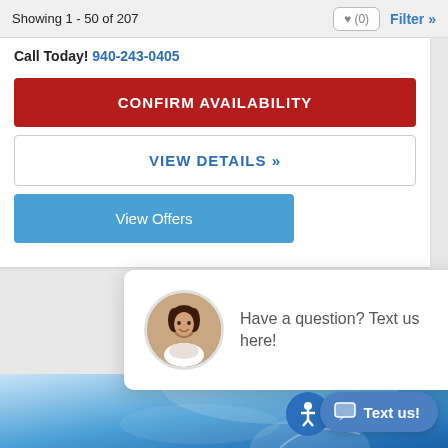Showing 1 - 50 of 207
Call Today! 940-243-0405
CONFIRM AVAILABILITY
VIEW DETAILS »
View Offers
Have a question? Text us here!
[Figure (photo): Woman avatar photo in circular frame for chat widget]
Text us!
[Figure (photo): Blue gradient background with car/tech image at bottom of page]